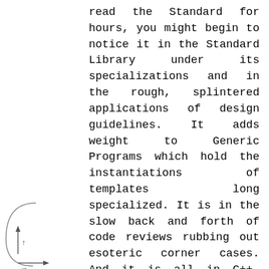read the Standard for hours, you might begin to notice it in the Standard Library under its specializations and in the rough, splintered applications of design guidelines. It adds weight to Generic Programs which hold the instantiations of templates long specialized. It is in the slow back and forth of code reviews rubbing out esoteric corner cases. And it is all in C++, adding to classes that already are qualified through const.
The C++ Committee can move with the subtle certainty that comes from knowing
[Figure (illustration): Partial diagram showing an arc and two arrows (upward and rightward) on the bottom-left of the page]